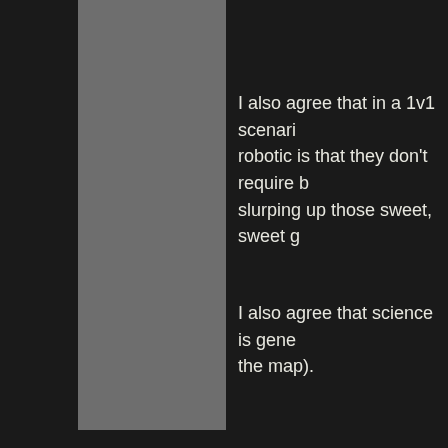I also agree that in a 1v1 scenario, robotic is that they don't require b slurping up those sweet, sweet g
I also agree that science is gene the map).
I do not agree that science is stro to show in the midgame/lategam resource-tiles, making re-tooling often doesn't have claims to spa delta-resources that science play under them). Susceptible to glas